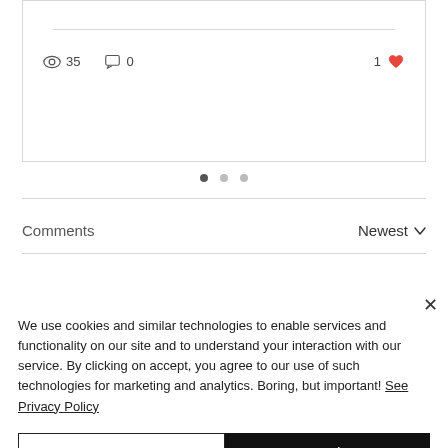[Figure (screenshot): Blog post card showing stats row with 35 views, 0 comments, and 1 like (heart icon in red). Card has a dividing line and is bordered.]
35   0   1
[Figure (other): Three dot carousel indicator: one filled dot and two empty dots]
Comments   Newest
We use cookies and similar technologies to enable services and functionality on our site and to understand your interaction with our service. By clicking on accept, you agree to our use of such technologies for marketing and analytics. Boring, but important! See Privacy Policy
Decline All
Got it
Cookie Settings